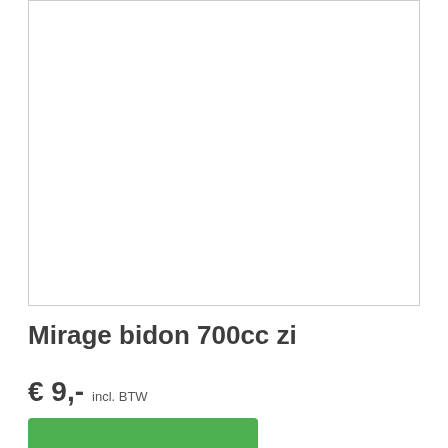[Figure (photo): Product image area — white/empty product photo with gray border]
Mirage bidon 700cc zi
€ 9,- incl. BTW
[Figure (other): Green add-to-cart button (partially visible)]